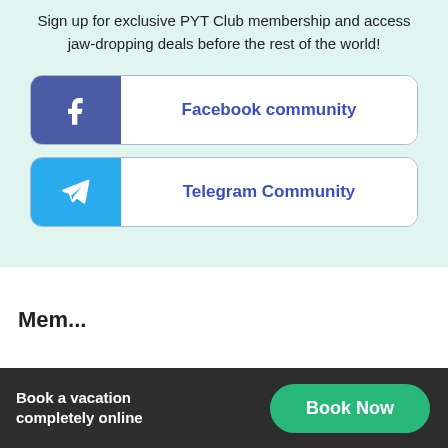Sign up for exclusive PYT Club membership and access jaw-dropping deals before the rest of the world!
Facebook community
Telegram Community
Book a vacation completely online
Book Now